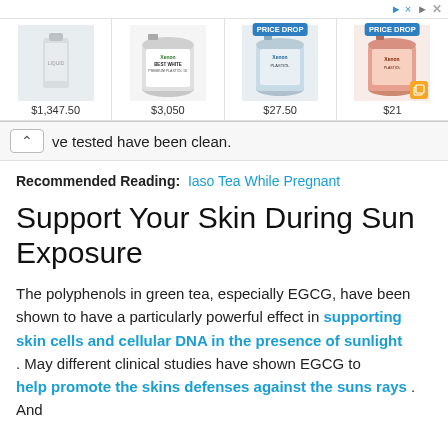[Figure (screenshot): Ad banner showing four paint/chemical products with prices: $1,347.50, $3,050, $27.50 (PRICE DROP), $21 (PRICE DROP). Has a close X button and triangle arrow icon.]
ve tested have been clean.
Recommended Reading:  Iaso Tea While Pregnant
Support Your Skin During Sun Exposure
The polyphenols in green tea, especially EGCG, have been shown to have a particularly powerful effect in supporting skin cells and cellular DNA in the presence of sunlight . May different clinical studies have shown EGCG to help promote the skins defenses against the suns rays . And